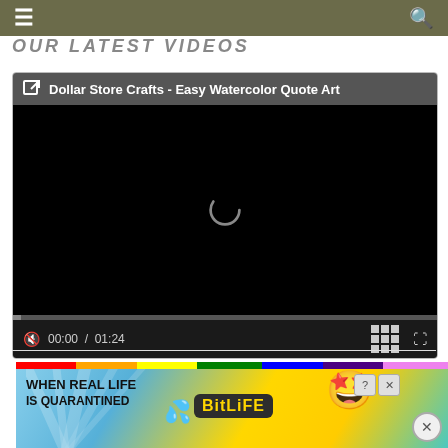Navigation bar with hamburger menu and search icon
OUR LATEST VIDEOS
[Figure (screenshot): Embedded video player showing 'Dollar Store Crafts - Easy Watercolor Quote Art' with black screen, loading spinner, progress bar, and controls showing 00:00 / 01:24]
Tags: blue, coffee cup, martha stewart paint project, mug, ombre, striped, turquoise
[Figure (screenshot): Advertisement banner: 'WHEN REAL LIFE IS QUARANTINED' BitLife ad with rainbow, mascot emoji, and close button]